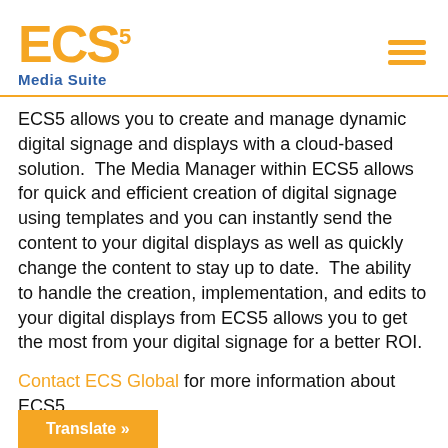[Figure (logo): ECS5 Media Suite logo with orange ECS text and blue Media Suite subtitle]
ECS5 allows you to create and manage dynamic digital signage and displays with a cloud-based solution.  The Media Manager within ECS5 allows for quick and efficient creation of digital signage using templates and you can instantly send the content to your digital displays as well as quickly change the content to stay up to date.  The ability to handle the creation, implementation, and edits to your digital displays from ECS5 allows you to get the most from your digital signage for a better ROI.
Contact ECS Global for more information about ECS5.